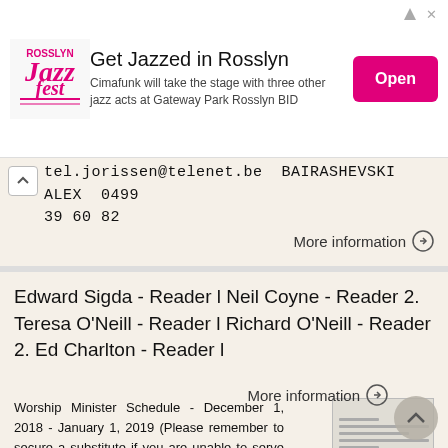[Figure (other): Rosslyn Jazz Fest advertisement banner. Logo on left, text 'Get Jazzed in Rosslyn' with description 'Cimafunk will take the stage with three other jazz acts at Gateway Park Rosslyn BID', and pink 'Open' button on right.]
tel.jorissen@telenet.be  BAIRASHEVSKI ALEX  0499 39 60 82
More information →
Edward Sigda - Reader l Neil Coyne - Reader 2. Teresa O'Neill - Reader l Richard O'Neill - Reader 2. Ed Charlton - Reader l
Worship Minister Schedule - December 1, 2018 - January 1, 2019 (Please remember to secure a substitute if you are unable to serve at your scheduled time.) Week of December 1 - December 8 Saturday, Dec
More information →